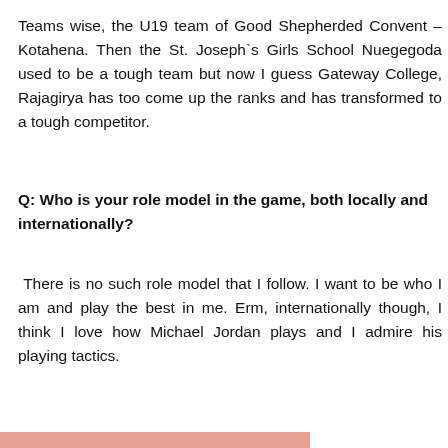Teams wise, the U19 team of Good Shepherded Convent – Kotahena. Then the St. Joseph`s Girls School Nuegegoda used to be a tough team but now I guess Gateway College, Rajagirya has too come up the ranks and has transformed to a tough competitor.
Q: Who is your role model in the game, both locally and internationally?
There is no such role model that I follow. I want to be who I am and play the best in me. Erm, internationally though, I think I love how Michael Jordan plays and I admire his playing tactics.